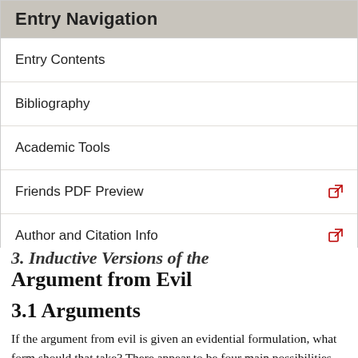Entry Navigation
Entry Contents
Bibliography
Academic Tools
Friends PDF Preview
Author and Citation Info
3. Inductive Versions of the Argument from Evil
3.1 Arguments
If the argument from evil is given an evidential formulation, what form should that take? There appear to be four main possibilities that have been suggested in recent discussions. The first, which might be called the direct inductive approach, involves the idea that one can show that theism is unlikely to be true without comparing